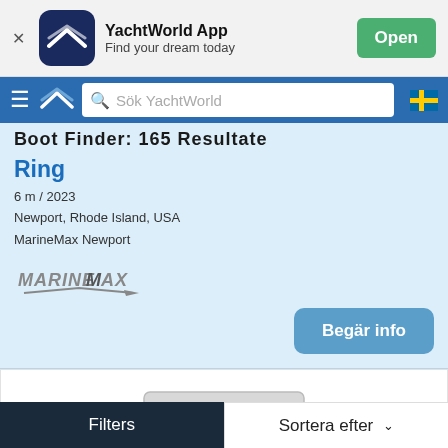[Figure (screenshot): YachtWorld App banner with logo, app name, tagline, and Open button]
YachtWorld App  Find your dream today
Sök YachtWorld
Ring
6 m / 2023
Newport, Rhode Island, USA
MarineMax Newport
[Figure (logo): MarineMax logo in italic grey text with arrow graphic]
Begär info
[Figure (photo): Partial top-view photo of a boat]
Filters  Sortera efter